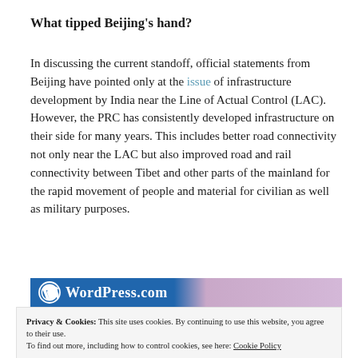What tipped Beijing's hand?
In discussing the current standoff, official statements from Beijing have pointed only at the issue of infrastructure development by India near the Line of Actual Control (LAC). However, the PRC has consistently developed infrastructure on their side for many years. This includes better road connectivity not only near the LAC but also improved road and rail connectivity between Tibet and other parts of the mainland for the rapid movement of people and material for civilian as well as military purposes.
[Figure (logo): WordPress.com logo banner with blue to pink gradient background]
Privacy & Cookies: This site uses cookies. By continuing to use this website, you agree to their use.
To find out more, including how to control cookies, see here: Cookie Policy